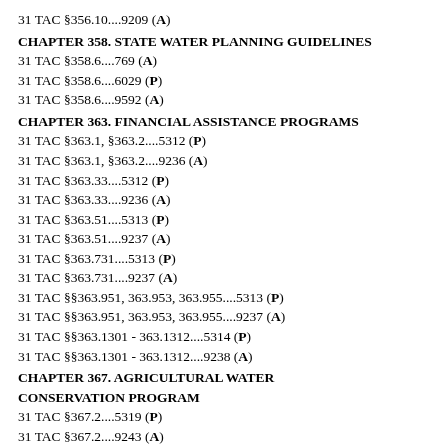31 TAC §356.10....9209 (A)
CHAPTER 358. STATE WATER PLANNING GUIDELINES
31 TAC §358.6....769 (A)
31 TAC §358.6....6029 (P)
31 TAC §358.6....9592 (A)
CHAPTER 363. FINANCIAL ASSISTANCE PROGRAMS
31 TAC §363.1, §363.2....5312 (P)
31 TAC §363.1, §363.2....9236 (A)
31 TAC §363.33....5312 (P)
31 TAC §363.33....9236 (A)
31 TAC §363.51....5313 (P)
31 TAC §363.51....9237 (A)
31 TAC §363.731....5313 (P)
31 TAC §363.731....9237 (A)
31 TAC §§363.951, 363.953, 363.955....5313 (P)
31 TAC §§363.951, 363.953, 363.955....9237 (A)
31 TAC §§363.1301 - 363.1312....5314 (P)
31 TAC §§363.1301 - 363.1312....9238 (A)
CHAPTER 367. AGRICULTURAL WATER CONSERVATION PROGRAM
31 TAC §367.2....5319 (P)
31 TAC §367.2....9243 (A)
CHAPTER 371. DRINKING WATER STATE REVOLVING FUND
31 TAC §371.1....5108 (P)